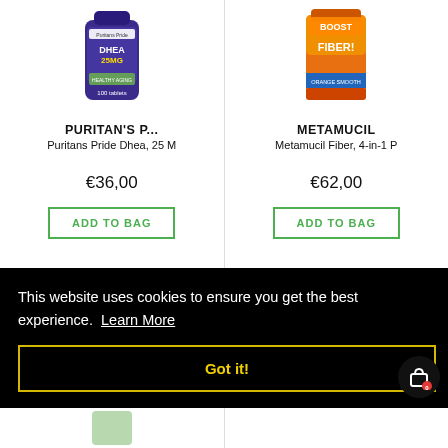[Figure (photo): Product image of Puritan's Pride DHEA 25mg supplement bottle, dark purple/blue bottle]
PURITAN'S P...
Puritans Pride Dhea, 25 M
€36,00
ADD TO BAG
[Figure (photo): Product image of Metamucil Fiber supplement container, orange/yellow container]
METAMUCIL
Metamucil Fiber, 4-in-1 P
€62,00
ADD TO BAG
This website uses cookies to ensure you get the best experience.  Learn More
Got it!